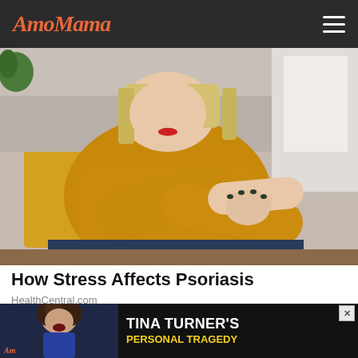AmoMama
[Figure (photo): Woman in mustard yellow knit sweater sitting on a sofa, scratching her elbow with both hands, dark nail polish visible]
How Stress Affects Psoriasis
HealthCentral.com
[Figure (photo): Three thumbnail images at bottom: left shows a light interior scene, center shows a performance/concert scene with bokeh lights, right is a blue rectangle]
[Figure (photo): Advertisement banner: Tina Turner's Personal Tragedy - shows woman with curly hair singing, AmoMama logo, dark background with yellow subtitle text]